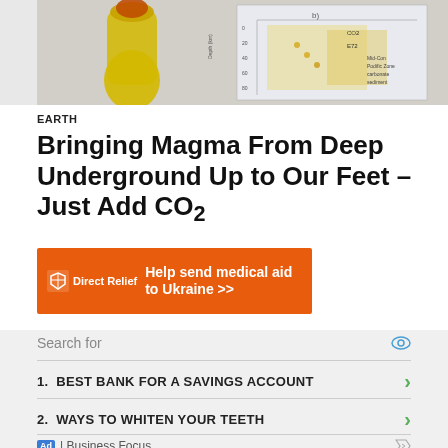[Figure (photo): Scientific image showing magma column in yellow-orange hues alongside a geological cross-section diagram with depth measurements and CO2 labels]
EARTH
Bringing Magma From Deep Underground Up to Our Feet – Just Add CO2
[Figure (infographic): Orange Direct Relief advertisement banner: Help send medical aid to Ukraine >>]
Search for
1.  BEST BANK FOR A SAVINGS ACCOUNT
2.  WAYS TO WHITEN YOUR TEETH
Ad | Business Focus